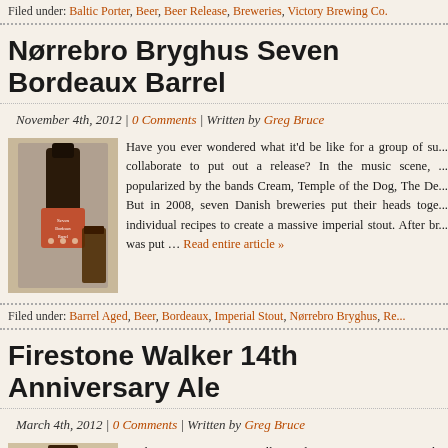Filed under: Baltic Porter, Beer, Beer Release, Breweries, Victory Brewing Co.
Nørrebro Bryghus Seven Bordeaux Barrel
November 4th, 2012 | 0 Comments | Written by Greg Bruce
[Figure (photo): Dark beer bottle with label reading Seven Bordeaux Barrel, with glass of dark beer]
Have you ever wondered what it'd be like for a group of su... collaborate to put out a release? In the music scene, ... popularized by the bands Cream, Temple of the Dog, The De... But in 2008, seven Danish breweries put their heads toge... individual recipes to create a massive imperial stout. After br... was put … Read entire article »
Filed under: Barrel Aged, Beer, Bordeaux, Imperial Stout, Nørrebro Bryghus, Re...
Firestone Walker 14th Anniversary Ale
March 4th, 2012 | 0 Comments | Written by Greg Bruce
[Figure (photo): Brown bottle of Firestone Walker 14th Anniversary Ale]
Each year, Firestone Walker releases an anniversary b... brewing techniques as well as their wine and barrel... Anniversary Ale marries six different beers that are each a...